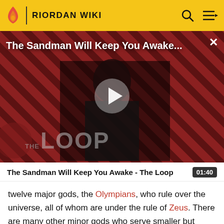RIORDAN WIKI
[Figure (screenshot): Video thumbnail for 'The Sandman Will Keep You Awake - The Loop' showing a figure in black against a red diagonal-striped background with The Loop logo overlay and a play button in the center]
The Sandman Will Keep You Awake - The Loop  01:40
twelve major gods, the Olympians, who rule over the universe, all of whom are under the rule of Zeus. There are many other minor gods who serve smaller but